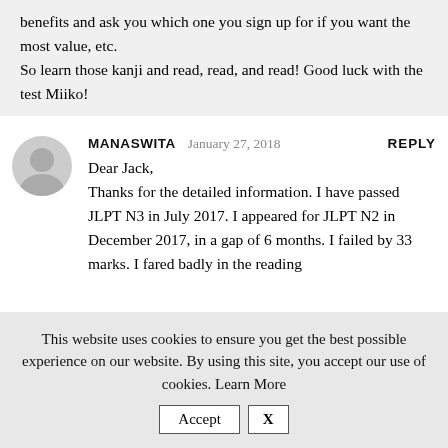benefits and ask you which one you sign up for if you want the most value, etc. So learn those kanji and read, read, and read! Good luck with the test Miiko!
MANASWITA January 27, 2018 REPLY
Dear Jack,
Thanks for the detailed information. I have passed JLPT N3 in July 2017. I appeared for JLPT N2 in December 2017, in a gap of 6 months. I failed by 33 marks. I fared badly in the reading
This website uses cookies to ensure you get the best possible experience on our website. By using this site, you accept our use of cookies. Learn More